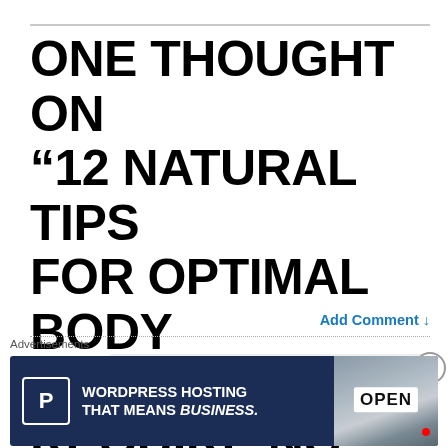ONE THOUGHT ON “12 NATURAL TIPS FOR OPTIMAL BODY AND MIND (9 REQUIRE NO MONEY)”
Add Comment ↓
jvvsc36
Advertisements
[Figure (screenshot): Advertisement banner for WordPress Hosting with P logo and OPEN sign photo]